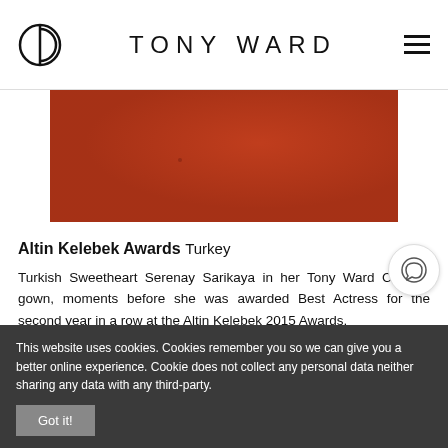TONY WARD
[Figure (photo): Red/terracotta colored fabric or background image strip]
Altin Kelebek Awards
Turkey
Turkish Sweetheart Serenay Sarikaya in her Tony Ward Couture gown, moments before she was awarded Best Actress for the second year in a row at the Altin Kelebek 2015 Awards.
This website uses cookies. Cookies remember you so we can give you a better online experience. Cookie does not collect any personal data neither sharing any data with any third-party.